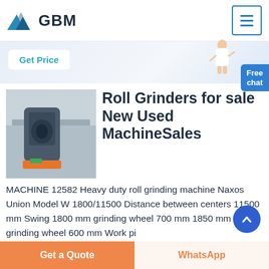[Figure (logo): GBM logo with mountain/triangle graphic and bold GBM text]
[Figure (other): Hamburger menu icon in a blue-bordered box]
Get Price
[Figure (photo): Photo of a large industrial roll grinding machine in a factory]
Roll Grinders for sale New Used MachineSales
MACHINE 12582 Heavy duty roll grinding machine Naxos Union Model W 1800/11500 Distance between centers 11500 mm Swing 1800 mm grinding wheel 700 mm 1850 mm grinding wheel 600 mm Work pi
Get a Quote
WhatsApp